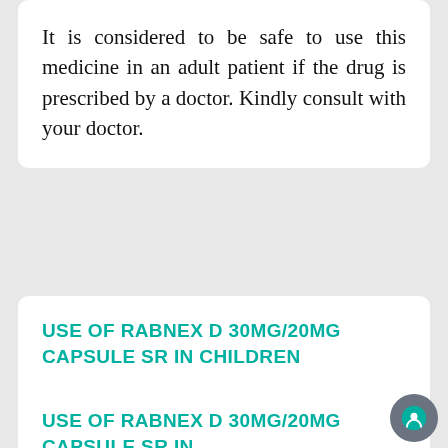It is considered to be safe to use this medicine in an adult patient if the drug is prescribed by a doctor. Kindly consult with your doctor.
USE OF RABNEX D 30MG/20MG CAPSULE SR IN CHILDREN
Rabnex D 30mg/20mg Capsule SR is not prescribed in children who are below 12 years old. Kindly consult with your doctor.
USE OF RABNEX D 30MG/20MG CAPSULE SR IN